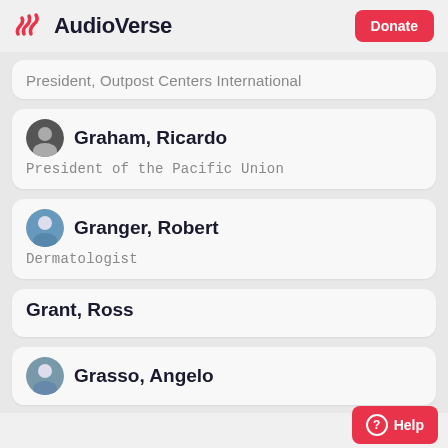AudioVerse | Donate
President, Outpost Centers International
Graham, Ricardo
President of the Pacific Union
Granger, Robert
Dermatologist
Grant, Ross
Grasso, Angelo